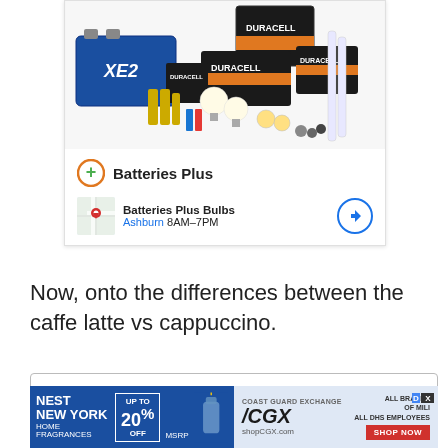[Figure (photo): Advertisement for Batteries Plus showing various batteries, bulbs, and Duracell products. Includes the Batteries Plus logo with orange plus icon, and a location row showing Batteries Plus Bulbs in Ashburn open 8AM-7PM with a map thumbnail and navigation button.]
Now, onto the differences between the caffe latte vs cappuccino.
Table Of Contents
[Figure (screenshot): Bottom advertisement banner showing two ads side by side: left side is Nest New York Home Fragrances with up to 20% off MSRP on blue background; right side is CGX (Coast Guard Exchange) with all brands of military all DHS employees, shopCGX.com, Shop Now button.]